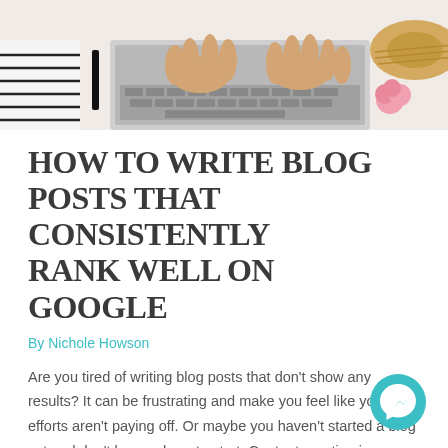[Figure (photo): Top-down flat lay photo of hands typing on a laptop keyboard, with a straw hat, pink flowers, and stationery items on a white surface.]
HOW TO WRITE BLOG POSTS THAT CONSISTENTLY RANK WELL ON GOOGLE
By Nichole Howson
Are you tired of writing blog posts that don't show any results? It can be frustrating and make you feel like your efforts aren't paying off. Or maybe you haven't started a blog yet and don't know where to start. Content creation is a critical part of your marketing strategy. You can generate more qualified …
Read More »